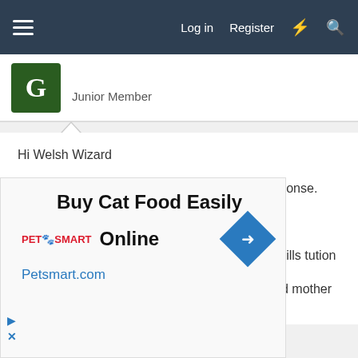Log in  Register
Junior Member
Hi Welsh Wizard
Thank you for the welcome note and quick response.
To answer your questions,
1. At college awaiting placement for practical skills tution
2. No protection whats so ever, hence why i told mother in law not use
[Figure (other): PetSmart advertisement banner: 'Buy Cat Food Easily Online' with Petsmart.com URL and navigation arrow icon]